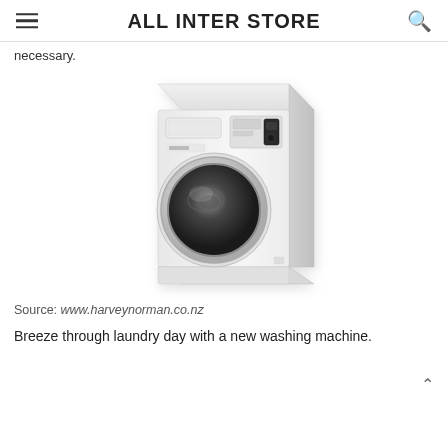ALL INTER STORE
necessary.
[Figure (photo): Front-loading washing machine, white, with circular door and control panel on top right, shown in three-quarter perspective view.]
Source: www.harveynorman.co.nz
Breeze through laundry day with a new washing machine.